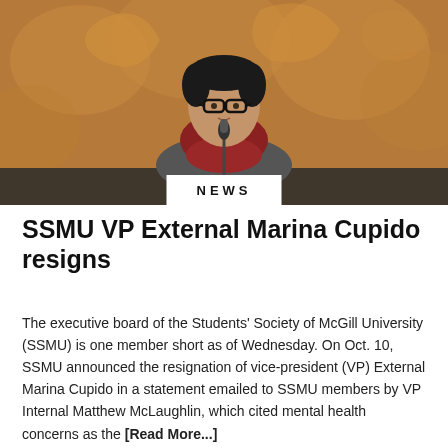[Figure (photo): Person with glasses and red/burgundy scarf speaking at a microphone, with a decorative carved wooden panel in the background. The photo is overlaid with a white 'NEWS' badge at the bottom center.]
SSMU VP External Marina Cupido resigns
The executive board of the Students' Society of McGill University (SSMU) is one member short as of Wednesday. On Oct. 10, SSMU announced the resignation of vice-president (VP) External Marina Cupido in a statement emailed to SSMU members by VP Internal Matthew McLaughlin, which cited mental health concerns as the [Read More...]